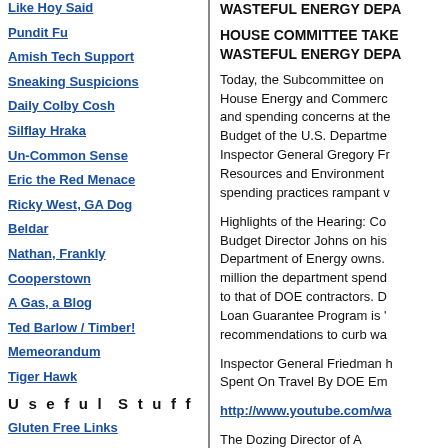Like Hoy Said
Pundit Fu
Amish Tech Support
Sneaking Suspicions
Daily Colby Cosh
Silflay Hraka
Un-Common Sense
Eric the Red Menace
Ricky West, GA Dog
Beldar
Nathan, Frankly
Cooperstown
A Gas, a Blog
Ted Barlow / Timber!
Memeorandum
Tiger Hawk
Useful Stuff
Gluten Free Links
WASTEFUL ENERGY DEPA...
HOUSE COMMITTEE TAKE... WASTEFUL ENERGY DEPA...
Today, the Subcommittee on... House Energy and Commerc... and spending concerns at the... Budget of the U.S. Departme... Inspector General Gregory F... Resources and Environment... spending practices rampant v...
Highlights of the Hearing: Co... Budget Director Johns on his... Department of Energy owns.... million the department spend... to that of DOE contractors. D... Loan Guarantee Program is '... recommendations to curb wa...
Inspector General Friedman h... Spent On Travel By DOE Em...
http://www.youtube.com/wa...
The Dozing Director of...